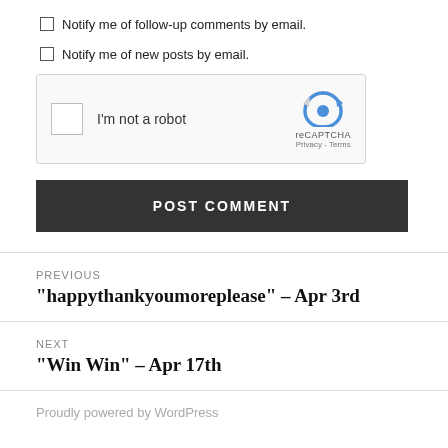Notify me of follow-up comments by email.
Notify me of new posts by email.
[Figure (other): reCAPTCHA widget with checkbox labeled I'm not a robot]
POST COMMENT
PREVIOUS
“happythankyoumoreplease” – Apr 3rd
NEXT
“Win Win” – Apr 17th
Proudly powered by WordPress